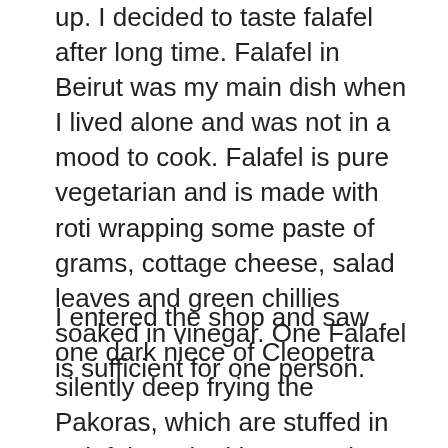up.  I decided to taste falafel after long time.  Falafel in Beirut was my main dish when I lived alone and was not in a mood to cook.  Falafel is pure vegetarian and is made with roti wrapping some paste of grams, cottage cheese, salad leaves and green chillies soaked in vinegar.  One Falafel is sufficient for one person.
I entered the shop and saw one dark niece of Cleopetra silently deep frying the Pakoras, which are stuffed in Falafel.  I asked her to make one for me by stuffing with some onions and other things.  She quite rudely told me that she will give the falafel and I have to fill the garnish myself.  In Lebanon, the